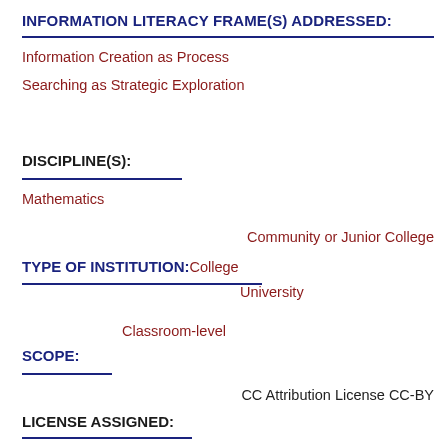INFORMATION LITERACY FRAME(S) ADDRESSED:
Information Creation as Process
Searching as Strategic Exploration
DISCIPLINE(S):
Mathematics
Community or Junior College
TYPE OF INSTITUTION:
College
University
Classroom-level
SCOPE:
CC Attribution License CC-BY
LICENSE ASSIGNED: